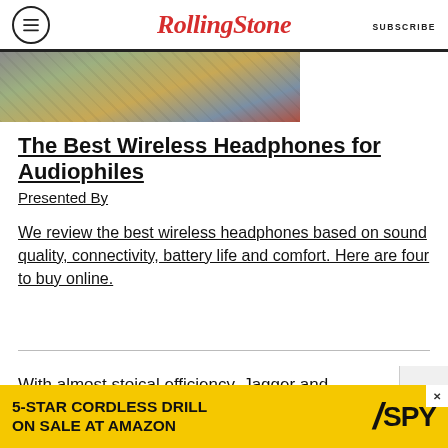Rolling Stone | SUBSCRIBE
[Figure (photo): Partial image of people, appears to be a concert or crowd scene with colorful clothing visible]
The Best Wireless Headphones for Audiophiles
Presented By
We review the best wireless headphones based on sound quality, connectivity, battery life and comfort. Here are four to buy online.
With almost stoical efficiency, Jagger and
[Figure (infographic): Advertisement banner: 5-STAR CORDLESS DRILL ON SALE AT AMAZON with SPY logo on yellow background]